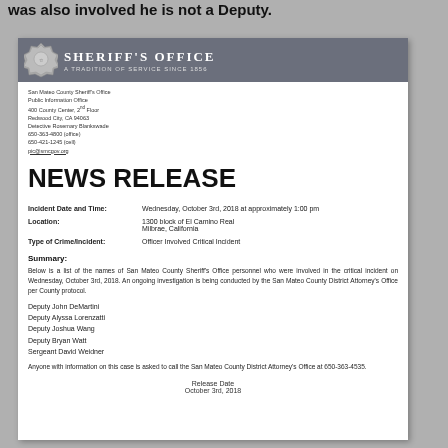was also involved he is not a Deputy.
[Figure (logo): San Mateo County Sheriff's Office banner with badge logo and text 'SHERIFF'S OFFICE - A TRADITION OF SERVICE SINCE 1856']
San Mateo County Sheriff's Office
Public Information Office
400 County Center, 2nd Floor
Redwood City, CA 94063
Detective Rosemary Blankswade
650-363-4800 (office)
650-421-1245 (cell)
pic@smcgov.org
NEWS RELEASE
| Field | Value |
| --- | --- |
| Incident Date and Time: | Wednesday, October 3rd, 2018 at approximately 1:00 pm |
| Location: | 1300 block of El Camino Real
Milbrae, California |
| Type of Crime/Incident: | Officer Involved Critical Incident |
Summary:
Below is a list of the names of San Mateo County Sheriff's Office personnel who were involved in the critical incident on Wednesday, October 3rd, 2018. An ongoing investigation is being conducted by the San Mateo County District Attorney's Office per County protocol.
Deputy John DeMartini
Deputy Alyssa Lorenzatti
Deputy Joshua Wang
Deputy Bryan Watt
Sergeant David Weidner
Anyone with information on this case is asked to call the San Mateo County District Attorney's Office at 650-363-4535.
Release Date
October 3rd, 2018